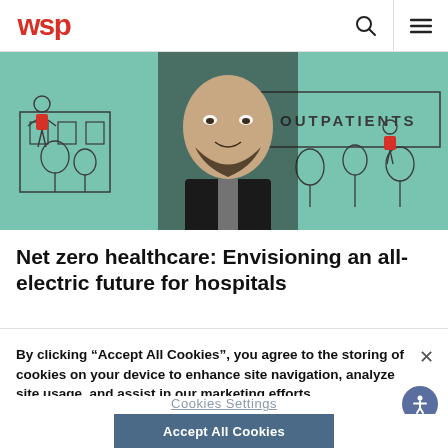wsp
[Figure (illustration): A man in a dark suit standing in front of an illustrated hospital outpatients building scene with cartoon-style trees and walking people on a teal/green background. The word OUTPATIENTS is visible on a building sign.]
Net zero healthcare: Envisioning an all-electric future for hospitals
By clicking “Accept All Cookies”, you agree to the storing of cookies on your device to enhance site navigation, analyze site usage, and assist in our marketing efforts.
Cookies Settings
Accept All Cookies